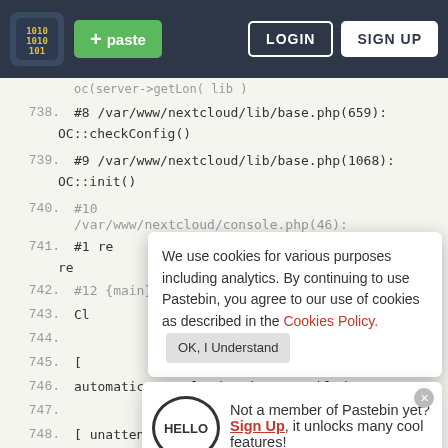Pastebin navigation bar with logo, + paste button, LOGIN and SIGN UP buttons
oc(server->getlon( lib )
738. #8 /var/www/nextcloud/lib/base.php(659): OC::checkConfig()
739. #9 /var/www/nextcloud/lib/base.php(1068): OC::init()
740. #10 /var/www/nextcloud/console.php(46):
741. #1 re
742. #12 {main}Error backing up
743. Cl
744.
745. [
746. automatic Nextcloud updates enabled
747.
748. [ unattended-upgrades ]
749. Unattended upgrades active: yes (autoreboot true)
We use cookies for various purposes including analytics. By continuing to use Pastebin, you agree to our use of cookies as described in the Cookies Policy. OK, I Understand
Not a member of Pastebin yet? Sign Up, it unlocks many cool features!